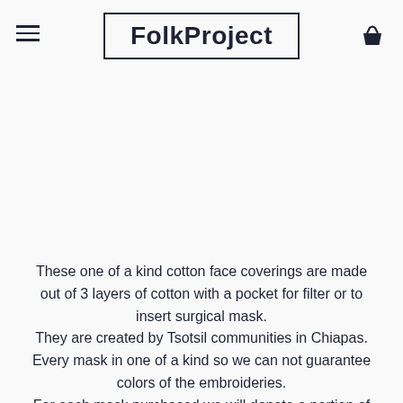FolkProject
These one of a kind cotton face coverings are made out of 3 layers of cotton with a pocket for filter or to insert surgical mask. They are created by Tsotsil communities in Chiapas. Every mask in one of a kind so we can not guarantee colors of the embroideries. For each mask purchased we will donate a portion of proceeds to www.refugee-net.org to help support migrant, refugee and asylum seeking families in the